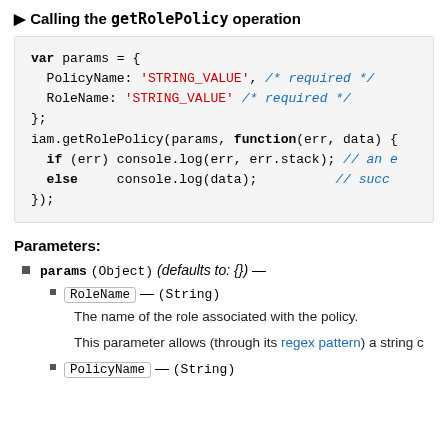▶ Calling the getRolePolicy operation
[Figure (screenshot): Code block showing JavaScript sample for getRolePolicy: var params = { PolicyName: 'STRING_VALUE', /* required */ RoleName: 'STRING_VALUE' /* required */ }; iam.getRolePolicy(params, function(err, data) { if (err) console.log(err, err.stack); // an e else console.log(data); // succ }); ]
Parameters:
params (Object) (defaults to: {}) —
RoleName — (String)
The name of the role associated with the policy.
This parameter allows (through its regex pattern) a string c
PolicyName — (String)
The name of the policy document to get.